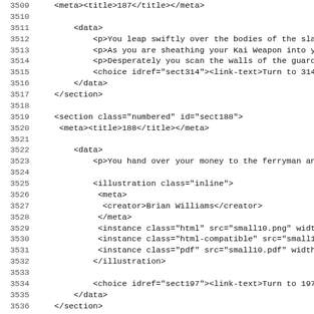Source code listing lines 3509-3541, XML/markup format for a gamebook document
3509    <meta><title>187</title></meta>
3510
3511        <data>
3512            <p>You leap swiftly over the bodies of the slain
3513            <p>As you are sheathing your Kai Weapon into you
3514            <p>Desperately you scan the walls of the guardro
3515            <choice idref="sect314"><link-text>Turn to 314</
3516        </data>
3517    </section>
3518
3519    <section class="numbered" id="sect188">
3520        <meta><title>188</title></meta>
3521
3522        <data>
3523            <p>You hand over your money to the ferryman and
3524
3525            <illustration class="inline">
3526             <meta>
3527              <creator>Brian Williams</creator>
3528             </meta>
3529             <instance class="html" src="small10.png" width=
3530             <instance class="html-compatible" src="small10.
3531             <instance class="pdf" src="small10.pdf" width=
3532            </illustration>
3533
3534            <choice idref="sect197"><link-text>Turn to 197</
3535        </data>
3536    </section>
3537
3538    <section class="numbered" id="sect189">
3539        <meta><title>189</title></meta>
3540
3541        <data>